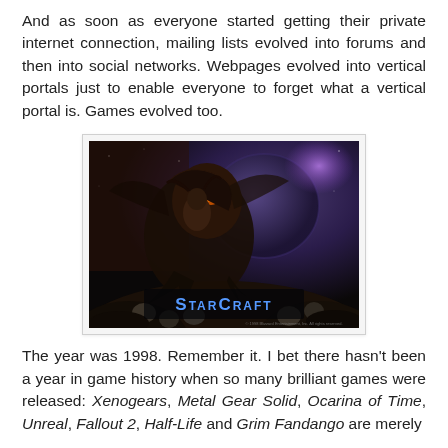And as soon as everyone started getting their private internet connection, mailing lists evolved into forums and then into social networks. Webpages evolved into vertical portals just to enable everyone to forget what a vertical portal is. Games evolved too.
[Figure (photo): StarCraft game promotional image showing a zerg creature (hydralisk) with the StarCraft logo displayed at the bottom against a dark space background]
The year was 1998. Remember it. I bet there hasn't been a year in game history when so many brilliant games were released: Xenogears, Metal Gear Solid, Ocarina of Time, Unreal, Fallout 2, Half-Life and Grim Fandango are merely